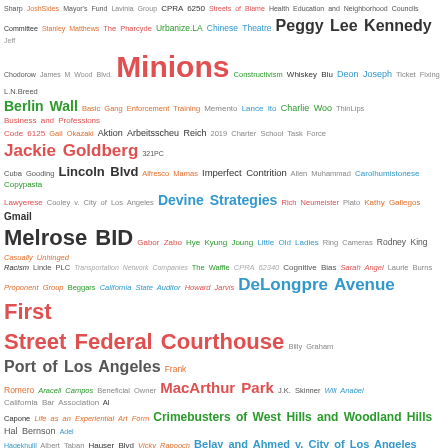[Figure (infographic): Word cloud containing various terms related to Los Angeles government, neighborhoods, people, and organizations. Terms appear in varying sizes and colors (red, green, blue, orange, purple, teal, gray, black) reflecting their frequency or importance. Largest terms include 'Skid Row Neighborhood Council', 'First Street Federal Courthouse', 'Minions', 'Melrose BID', 'Ernesto Vicencio', 'Jackie Goldberg', 'DeLongpre Avenue', 'Port of Los Angeles', 'Burbank', 'Crimebusters of West Hills and Woodland Hills', 'MacArthur Park', 'Racially Restrictive Covenants', 'Amy Gebert', 'Fernando Gaytan', 'Online Voting', 'Hollywood Station', 'Berlin Wall', 'Los Feliz Neighborhood Council'.]